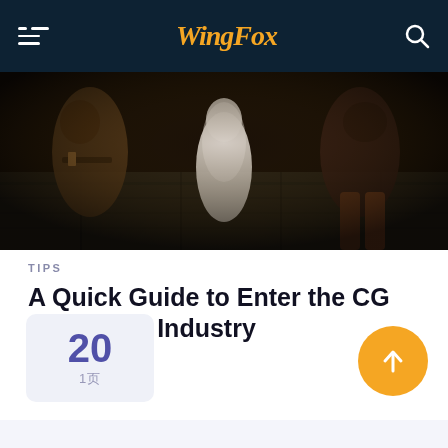WingFox
[Figure (photo): Dark cinematic CG render showing fantasy/medieval characters and a white animal in a stone corridor setting]
TIPS
A Quick Guide to Enter the CG Animation Industry
READ MORE →
20
1页